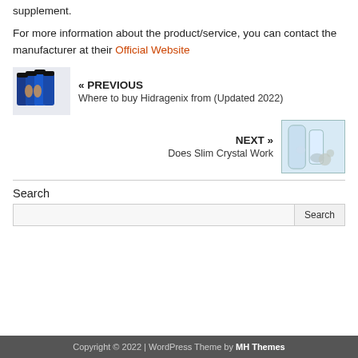supplement.
For more information about the product/service, you can contact the manufacturer at their Official Website
« PREVIOUS
Where to buy Hidragenix from (Updated 2022)
NEXT »
Does Slim Crystal Work
Search
Copyright © 2022 | WordPress Theme by MH Themes